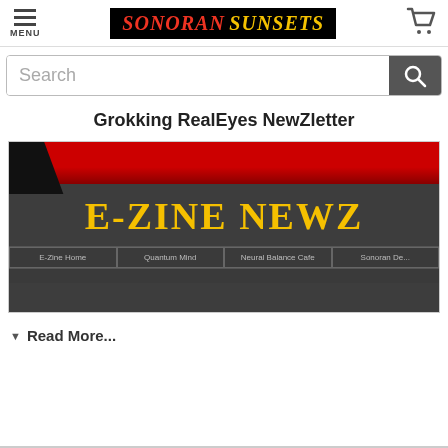MENU | SONORAN SUNSETS | [cart icon]
[Figure (screenshot): Website header with menu icon (three horizontal lines, MENU label), Sonoran Sunsets logo in red/yellow italic text on black background, and shopping cart icon]
[Figure (screenshot): Search bar with placeholder text 'Search' and dark search button with magnifying glass icon]
Grokking RealEyes NewZletter
[Figure (screenshot): E-Zine NewZletter website screenshot showing dark gray background, red top stripe, yellow bold text 'E-ZINE NEWZ', and navigation tabs: E-Zine Home, Quantum Mind, Neural Balance Cafe, Sonoran De...]
▼ Read More...